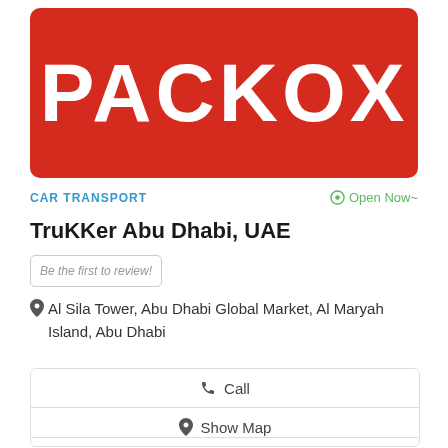[Figure (logo): PACKOX logo — white bold text on a red rounded-rectangle background]
CAR TRANSPORT
Open Now~
TruKKer Abu Dhabi, UAE
Be the first to review!
Al Sila Tower, Abu Dhabi Global Market, Al Maryah Island, Abu Dhabi
Call
Show Map